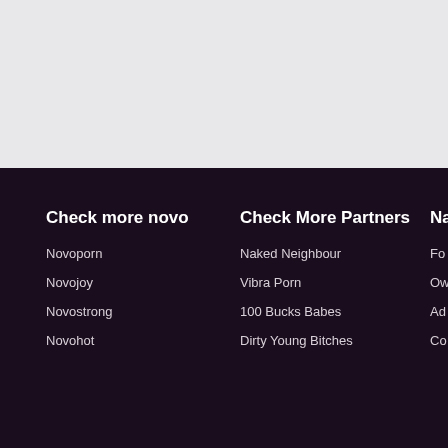[Figure (other): Gray background image area at the top of the page]
Check more novo
Novoporn
Novojoy
Novostrong
Novohot
Check More Partners
Naked Neighbour
Vibra Porn
100 Bucks Babes
Dirty Young Bitches
Na
Fo
Ow
Ad
Co